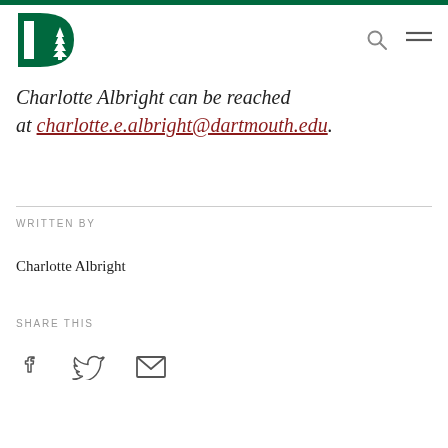[Figure (logo): Dartmouth College D pine tree logo in green]
Charlotte Albright can be reached at charlotte.e.albright@dartmouth.edu.
WRITTEN BY
Charlotte Albright
SHARE THIS